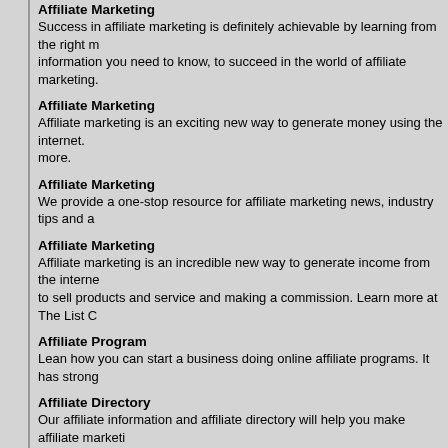Affiliate Marketing
Success in affiliate marketing is definitely achievable by learning from the right information you need to know, to succeed in the world of affiliate marketing.
Affiliate Marketing
Affiliate marketing is an exciting new way to generate money using the internet. more.
Affiliate Marketing
We provide a one-stop resource for affiliate marketing news, industry tips and a
Affiliate Marketing
Affiliate marketing is an incredible new way to generate income from the internet to sell products and service and making a commission. Learn more at The List C
Affiliate Program
Lean how you can start a business doing online affiliate programs. It has strong
Affiliate Directory
Our affiliate information and affiliate directory will help you make affiliate marketing directory and free affiliate infomation to help you be a successful affiliate.
Affiliate Program
Affiliate programs allow anyone with a web site to sell the products of others for inventory shipping or even providing any services. We show you how, and which
Top Affiliate Programs
Want a business idea that takes little to start and maintain, but offers the potential about affiliate marketing, learn more at Revere Federal.
Affiliate Programs
What are affiliate programs really? Our resources and self-help articles will introduce best ones out in the market today.